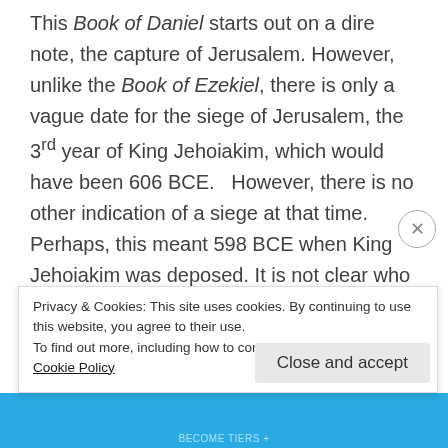This Book of Daniel starts out on a dire note, the capture of Jerusalem. However, unlike the Book of Ezekiel, there is only a vague date for the siege of Jerusalem, the 3rd year of King Jehoiakim, which would have been 606 BCE.   However, there is no other indication of a siege at that time. Perhaps, this meant 598 BCE when King Jehoiakim was deposed. It is not clear who the author of this work was. However, the Judaean king fell under the
Privacy & Cookies: This site uses cookies. By continuing to use this website, you agree to their use.
To find out more, including how to control cookies, see here: Cookie Policy